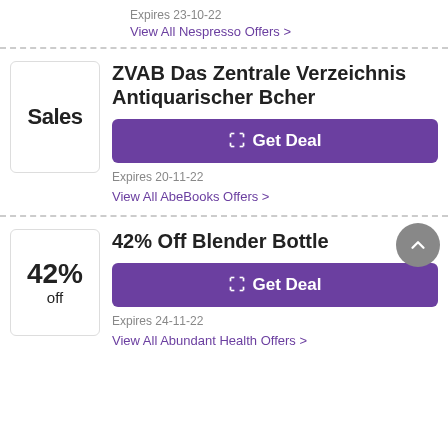Expires 23-10-22
View All Nespresso Offers >
ZVAB Das Zentrale Verzeichnis Antiquarischer Bcher
[Figure (other): Sales badge box with text 'Sales']
Get Deal
Expires 20-11-22
View All AbeBooks Offers >
42% Off Blender Bottle
[Figure (other): 42% off badge box]
Get Deal
Expires 24-11-22
View All Abundant Health Offers >